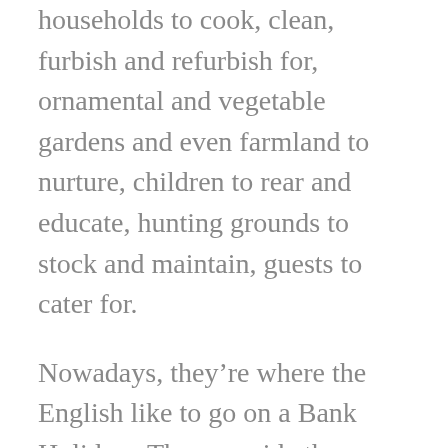households to cook, clean, furbish and refurbish for, ornamental and vegetable gardens and even farmland to nurture, children to rear and educate, hunting grounds to stock and maintain, guests to cater for.
Nowadays, they’re where the English like to go on a Bank Holiday.  They provide the chance to get a glimpse of other, very different lives, to learn a little history and to enjoy a stroll round gardens on such a different scale from that little patch you potter around back home. And because it’s a Bank Holiday, a little entertainment doesn’t go amiss either.  People arrive in their hundreds, expecting to spend the entire day exploring house and gardens, snacking rather well in one of several tea